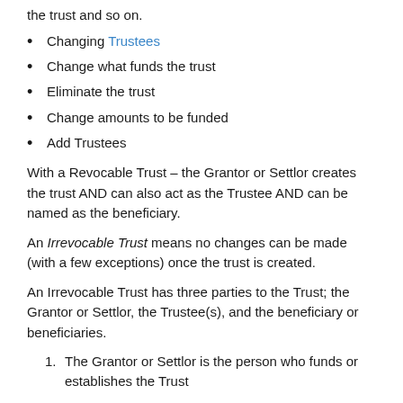the trust and so on.
Changing Trustees
Change what funds the trust
Eliminate the trust
Change amounts to be funded
Add Trustees
With a Revocable Trust – the Grantor or Settlor creates the trust AND can also act as the Trustee AND can be named as the beneficiary.
An Irrevocable Trust means no changes can be made (with a few exceptions) once the trust is created.
An Irrevocable Trust has three parties to the Trust; the Grantor or Settlor, the Trustee(s), and the beneficiary or beneficiaries.
The Grantor or Settlor is the person who funds or establishes the Trust